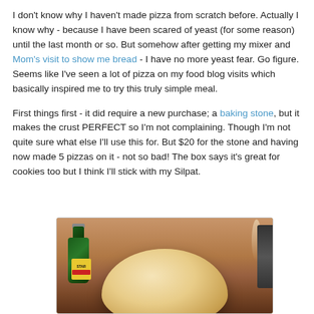I don't know why I haven't made pizza from scratch before. Actually I know why - because I have been scared of yeast (for some reason) until the last month or so. But somehow after getting my mixer and Mom's visit to show me bread - I have no more yeast fear. Go figure. Seems like I've seen a lot of pizza on my food blog visits which basically inspired me to try this truly simple meal.
First things first - it did require a new purchase; a baking stone, but it makes the crust PERFECT so I'm not complaining. Though I'm not quite sure what else I'll use this for. But $20 for the stone and having now made 5 pizzas on it - not so bad! The box says it's great for cookies too but I think I'll stick with my Silpat.
[Figure (photo): Photo of a round ball of pizza dough on a kitchen counter, with a green Star brand olive oil bottle visible in the background on the left, and a dark object on the right side.]